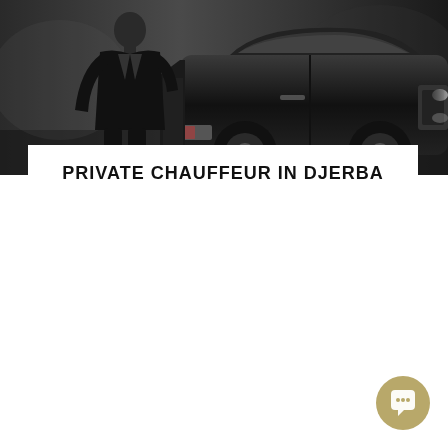[Figure (photo): Black and white photo of a chauffeur in a dark suit standing beside a luxury black car, door open]
PRIVATE CHAUFFEUR IN DJERBA
[Figure (other): Gold/tan circular chat button icon in the bottom right corner]